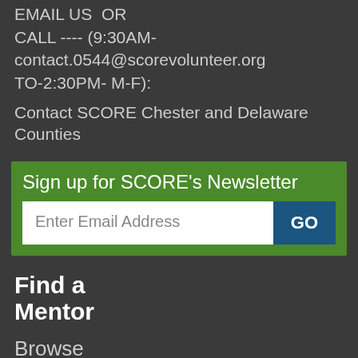EMAIL US  OR
CALL ---- (9:30AM- contact.0544@scorevolunteer.org
TO-2:30PM- M-F):
Contact SCORE Chester and Delaware Counties
Sign up for SCORE's Newsletter
Enter Email Address
GO
Find a
Mentor
Browse
Mentor
Profiles
Request
a
Mentor